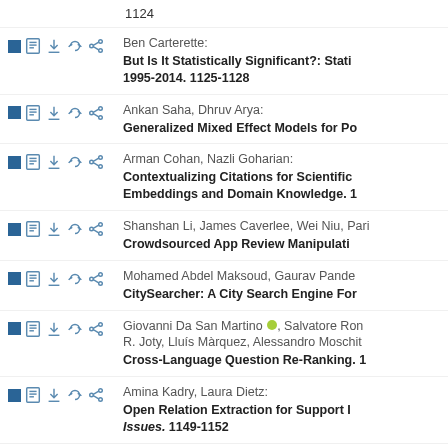1124
Ben Carterette: But Is It Statistically Significant?: Stati 1995-2014. 1125-1128
Ankan Saha, Dhruv Arya: Generalized Mixed Effect Models for Po
Arman Cohan, Nazli Goharian: Contextualizing Citations for Scientific Embeddings and Domain Knowledge. 1
Shanshan Li, James Caverlee, Wei Niu, Pari: Crowdsourced App Review Manipulati
Mohamed Abdel Maksoud, Gaurav Pande: CitySearcher: A City Search Engine For
Giovanni Da San Martino, Salvatore Ron R. Joty, Lluís Màrquez, Alessandro Moschit: Cross-Language Question Re-Ranking. 1
Amina Kadry, Laura Dietz: Open Relation Extraction for Support I Issues. 1149-1152